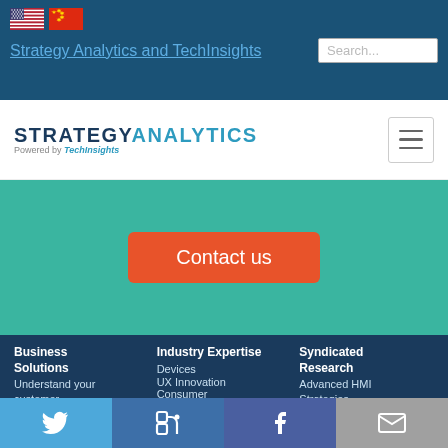[Figure (screenshot): US and China flag icons in top navigation bar]
Strategy Analytics and TechInsights
[Figure (logo): Strategy Analytics powered by TechInsights logo with hamburger menu]
Contact us
Business Solutions
Understand your customer
Optimize your
Industry Expertise
Devices
UX Innovation
Consumer
Packaged Goods
Syndicated Research
Advanced HMI Strategies
Advanced